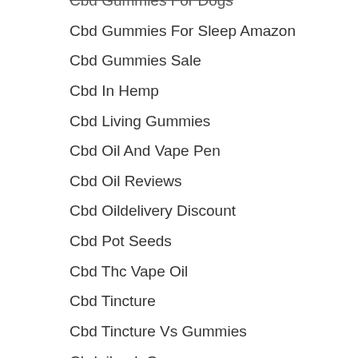Cbd Gummies For Dogs
Cbd Gummies For Sleep Amazon
Cbd Gummies Sale
Cbd In Hemp
Cbd Living Gummies
Cbd Oil And Vape Pen
Cbd Oil Reviews
Cbd Oildelivery Discount
Cbd Pot Seeds
Cbd Thc Vape Oil
Cbd Tincture
Cbd Tincture Vs Gummies
Cbdoilrank Com
Cbongacams
Cdb Oil
celibataires-locaux payant